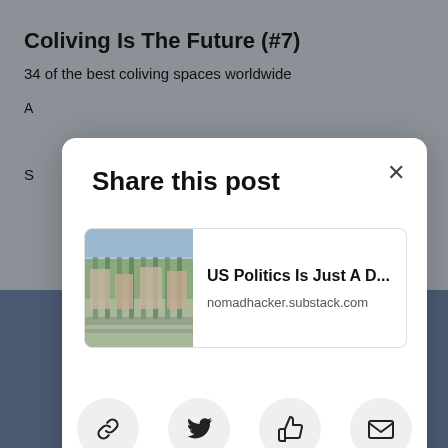Coliving Is The Future (#7)
34 of the best coliving spaces worldwide
[Figure (screenshot): Share this post modal dialog with post card and sharing options]
Share this post
US Politics Is Just A D...
nomadhacker.substack.com
Copy link
Twitter
Facebook
Email